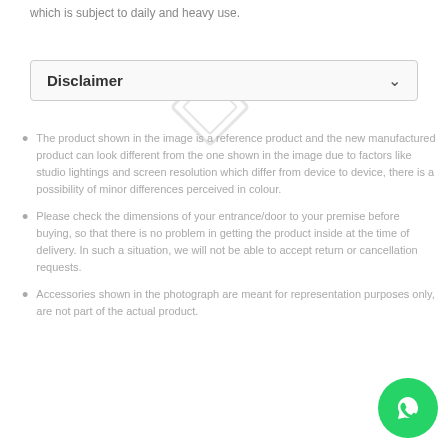which is subject to daily and heavy use.
Disclaimer
The product shown in the image is a reference product and the new manufactured product can look different from the one shown in the image due to factors like studio lightings and screen resolution which differ from device to device, there is a possibility of minor differences perceived in colour.
Please check the dimensions of your entrance/door to your premise before buying, so that there is no problem in getting the product inside at the time of delivery. In such a situation, we will not be able to accept return or cancellation requests.
Accessories shown in the photograph are meant for representation purposes only, are not part of the actual product.